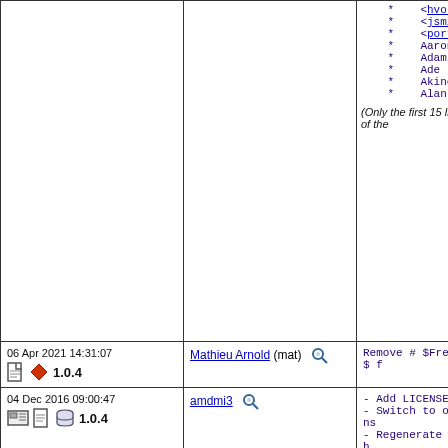| Date/Version | Author | Commit Message |
| --- | --- | --- |
| (continued from above) | (continued) | * <hvo.pm@xs4all...>
* <jsmith@resonat...>
* <ports@c0decafe...>
* Aaron Dalton <a...>
* Adam Weinberger...
* Ade Lovett <ade...>
* Akinori MUSHA a...
* Alan Snelson <A...
(Only the first 15 lines of the... |
| 06 Apr 2021 14:31:07
1.0.4 | Mathieu Arnold (mat) | Remove # $FreeBSD$ f |
| 04 Dec 2016 09:00:47
1.0.4 | amdmi3 | - Add LICENSE
- Switch to options
- Regenerate patches
- Add WWW
- Remove useless pat |
| 14 May 2015 10:15:09
1.0.4 | mat | MASTER_SITES cleanup

- Replace ${MASTER_S...
- Merge MASTER_SITE_...
when possible. (This
  of the time.)
- Remove occurrences
when no subdirectory
  no hint of what it
- Fix some logic.
- And generally, mak |